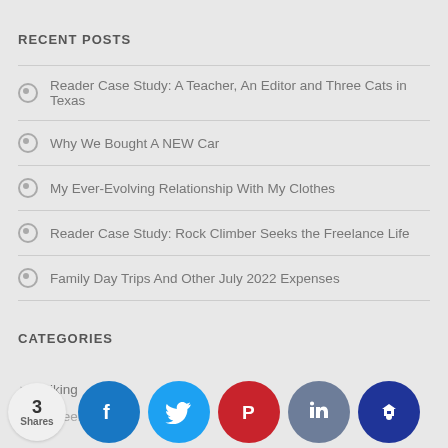RECENT POSTS
Reader Case Study: A Teacher, An Editor and Three Cats in Texas
Why We Bought A NEW Car
My Ever-Evolving Relationship With My Clothes
Reader Case Study: Rock Climber Seeks the Freelance Life
Family Day Trips And Other July 2022 Expenses
CATEGORIES
Biking
Career
[Figure (infographic): Social share bar with 3 Shares count and buttons for Facebook, Twitter, Pinterest, Likes, and Crown/bookmark icons]